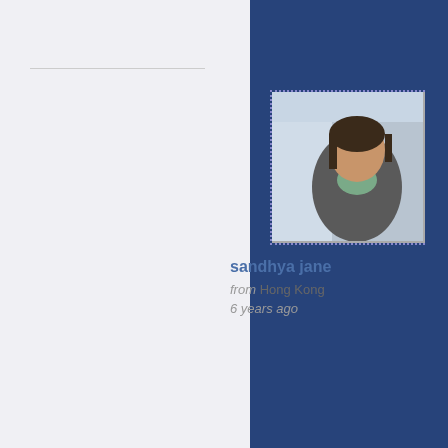[Figure (photo): Profile photo of a woman, partially cropped, with dotted border frame]
sandhya jane
from Hong Kong
6 years ago